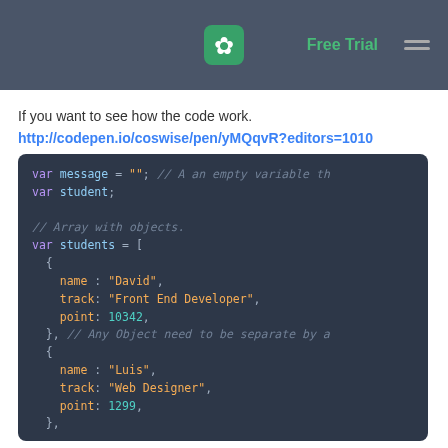Free Trial
If you want to see how the code work.
http://codepen.io/coswise/pen/yMQqvR?editors=1010
[Figure (screenshot): Code editor screenshot showing JavaScript code with var message, var student, and var students array with objects containing name, track, and point properties for David and Luis.]